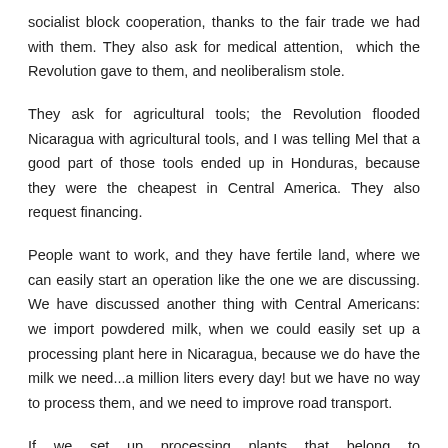socialist block cooperation, thanks to the fair trade we had with them. They also ask for medical attention, which the Revolution gave to them, and neoliberalism stole.
They ask for agricultural tools; the Revolution flooded Nicaragua with agricultural tools, and I was telling Mel that a good part of those tools ended up in Honduras, because they were the cheapest in Central America. They also request financing.
People want to work, and they have fertile land, where we can easily start an operation like the one we are discussing. We have discussed another thing with Central Americans: we import powdered milk, when we could easily set up a processing plant here in Nicaragua, because we do have the milk we need...a million liters every day! but we have no way to process them, and we need to improve road transport.
If we set up processing plants that belong to PETROCARIBE, to this community, we could have powdered milk available to all members at fair prices, instead of